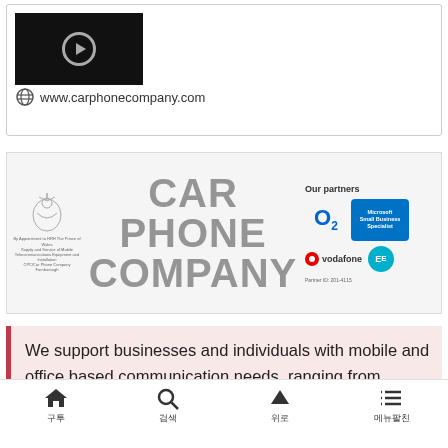[Figure (screenshot): Video thumbnail with dark background and circular play button indicator]
www.carphonecompany.com
[Figure (logo): Car Phone Company banner with royal crest, company name in large gray text, and partner logos including O2, Microsoft Small Business Specialist, Vodafone, and EE]
We support businesses and individuals with mobile and office based communication needs, ranging from complete mobile and cloud computing solutions to in-vehicle installations.
[garbled/encoded text in pink]
Home | Search | Top | Menu